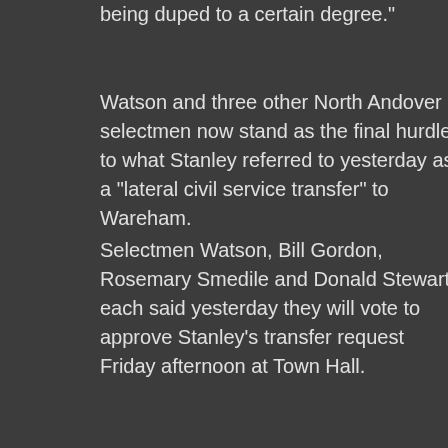being duped to a certain degree."
Watson and three other North Andover selectmen now stand as the final hurdle to what Stanley referred to yesterday as a "lateral civil service transfer" to Wareham.
Selectmen Watson, Bill Gordon, Rosemary Smedile and Donald Stewart each said yesterday they will vote to approve Stanley's transfer request Friday afternoon at Town Hall.
Selectmen Chai...